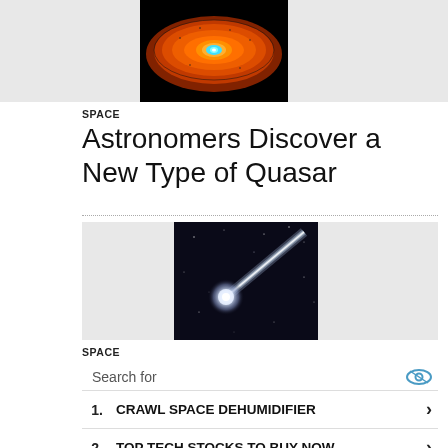[Figure (photo): Three-panel horizontal strip: left gray panel, center astronomical image of a quasar or black hole with orange accretion disk and cyan/blue center glow on black background, right gray panel]
SPACE
Astronomers Discover a New Type of Quasar
[Figure (photo): Three-panel horizontal block: left gray panel, center dark space image with bright white glowing object emitting a blue-white jet/beam extending diagonally to upper right against a star field, right gray panel]
SPACE
Search for
1. CRAWL SPACE DEHUMIDIFIER
2. TOP TECH STOCKS TO BUY NOW
Ad | Cellphone Guru